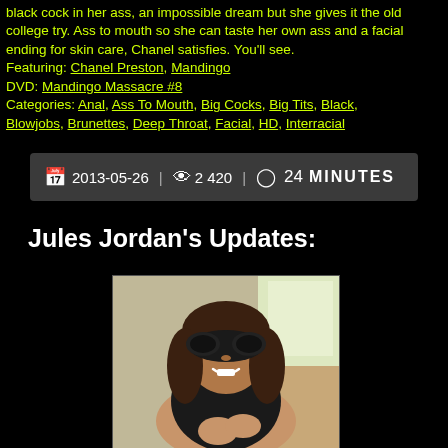black cock in her ass, an impossible dream but she gives it the old college try. Ass to mouth so she can taste her own ass and a facial ending for skin care, Chanel satisfies. You'll see. Featuring: Chanel Preston, Mandingo DVD: Mandingo Massacre #8 Categories: Anal, Ass To Mouth, Big Cocks, Big Tits, Black, Blowjobs, Brunettes, Deep Throat, Facial, HD, Interracial
2013-05-26 | 2 420 | 24 MINUTES
Jules Jordan's Updates:
[Figure (photo): A woman wearing a black masquerade mask, dressed in black, sitting indoors with a bright window visible in the background.]